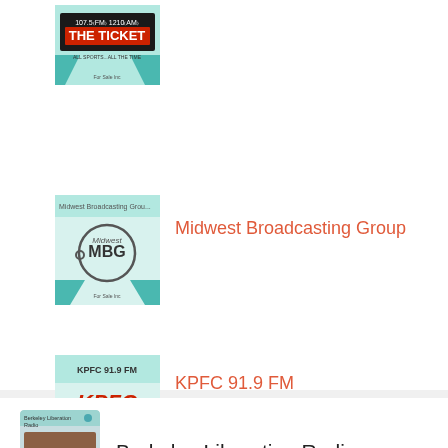[Figure (logo): 107.5 FM / 1210 AM The Ticket – All Sports All The Time radio station logo thumbnail]
[Figure (logo): Midwest Broadcasting Group (MBG) logo thumbnail with teal design]
Midwest Broadcasting Group
[Figure (logo): KPFC 91.9 FM radio station logo thumbnail]
KPFC 91.9 FM
[Figure (logo): Berkeley Liberation Radio logo thumbnail]
Berkeley Liberation Radio